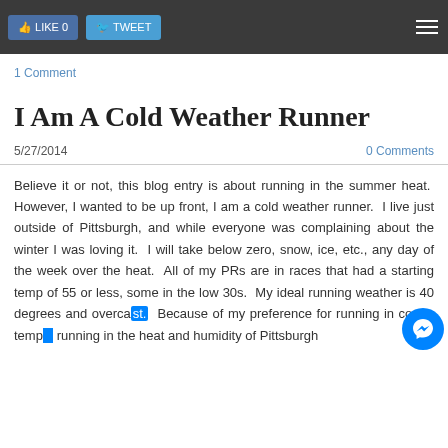Like | Tweet
1 Comment
I Am A Cold Weather Runner
5/27/2014
0 Comments
Believe it or not, this blog entry is about running in the summer heat.  However, I wanted to be up front, I am a cold weather runner.  I live just outside of Pittsburgh, and while everyone was complaining about the winter I was loving it.  I will take below zero, snow, ice, etc., any day of the week over the heat.  All of my PRs are in races that had a starting temp of 55 or less, some in the low 30s.   My ideal running weather is 40 degrees and overcast.  Because of my preference for running in cooler temps, running in the heat and humidity of Pittsburgh